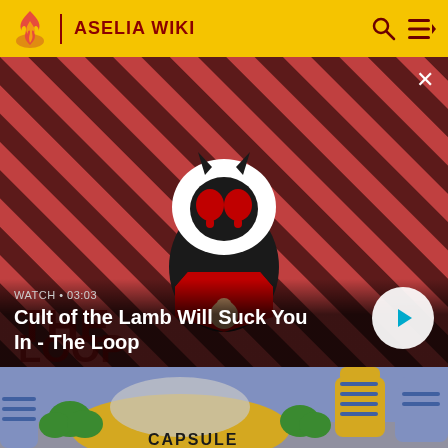ASELIA WIKI
[Figure (screenshot): Video thumbnail showing Cult of the Lamb character on red and black diagonal striped background with THE LOOP text overlay. Video duration 03:03.]
WATCH • 03:03
Cult of the Lamb Will Suck You In - The Loop
[Figure (screenshot): Animated scene showing futuristic dome-shaped buildings in a city with green trees, yellow and blue towers, partially visible text CAPSULE at bottom.]